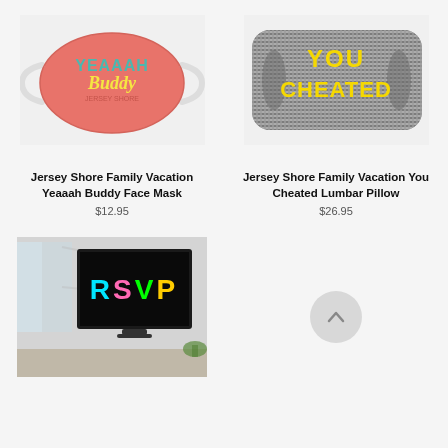[Figure (photo): Pink face mask with 'YEAAAH Buddy' text in retro style]
[Figure (photo): Gray static-patterned lumbar pillow with 'YOU CHEATED' in yellow bold text]
Jersey Shore Family Vacation Yeaaah Buddy Face Mask
$12.95
Jersey Shore Family Vacation You Cheated Lumbar Pillow
$26.95
[Figure (photo): Framed TV-style art print showing 'RSVP' in multicolor neon letters on black background, displayed in a room setting]